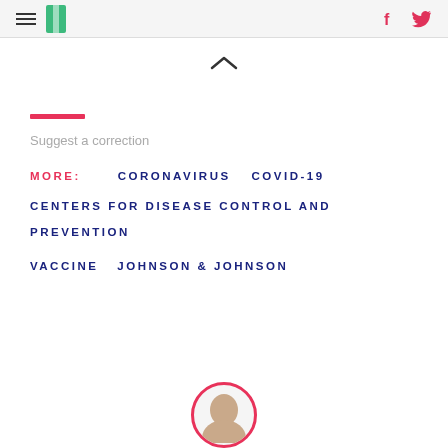HuffPost
Suggest a correction
MORE: CORONAVIRUS COVID-19 CENTERS FOR DISEASE CONTROL AND PREVENTION VACCINE JOHNSON & JOHNSON